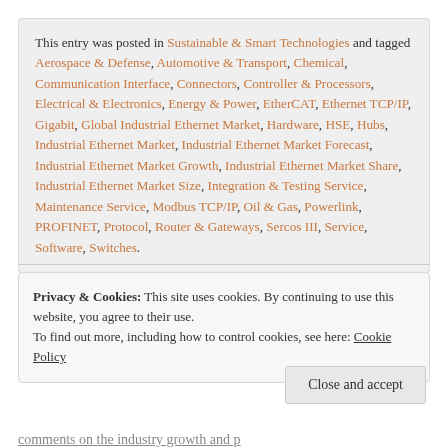This entry was posted in Sustainable & Smart Technologies and tagged Aerospace & Defense, Automotive & Transport, Chemical, Communication Interface, Connectors, Controller & Processors, Electrical & Electronics, Energy & Power, EtherCAT, Ethernet TCP/IP, Gigabit, Global Industrial Ethernet Market, Hardware, HSE, Hubs, Industrial Ethernet Market, Industrial Ethernet Market Forecast, Industrial Ethernet Market Growth, Industrial Ethernet Market Share, Industrial Ethernet Market Size, Integration & Testing Service, Maintenance Service, Modbus TCP/IP, Oil & Gas, Powerlink, PROFINET, Protocol, Router & Gateways, Sercos III, Service, Software, Switches.
Privacy & Cookies: This site uses cookies. By continuing to use this website, you agree to their use. To find out more, including how to control cookies, see here: Cookie Policy
Close and accept
comments on the industry growth and p